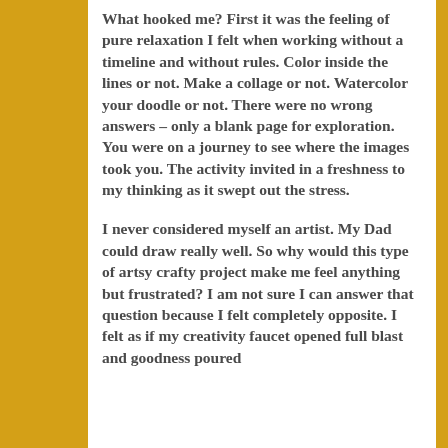What hooked me? First it was the feeling of pure relaxation I felt when working without a timeline and without rules. Color inside the lines or not. Make a collage or not. Watercolor your doodle or not. There were no wrong answers – only a blank page for exploration. You were on a journey to see where the images took you. The activity invited in a freshness to my thinking as it swept out the stress.
I never considered myself an artist. My Dad could draw really well. So why would this type of artsy crafty project make me feel anything but frustrated? I am not sure I can answer that question because I felt completely opposite. I felt as if my creativity faucet opened full blast and goodness poured